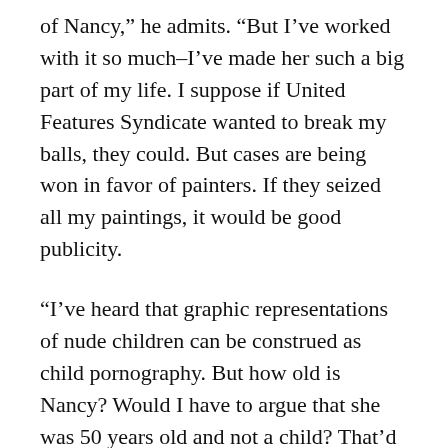of Nancy,” he admits. “But I’ve worked with it so much–I’ve made her such a big part of my life. I suppose if United Features Syndicate wanted to break my balls, they could. But cases are being won in favor of painters. If they seized all my paintings, it would be good publicity.
“I’ve heard that graphic representations of nude children can be construed as child pornography. But how old is Nancy? Would I have to argue that she was 50 years old and not a child? That’d be the last thing I want, to have people think I was involved in exploiting children. I’m not out to break taboos.”
Poop Studios, 1947 W. North, is showing art by Swank, Ron Richter, Karen Zilly, Steve Walters, and Calbee.